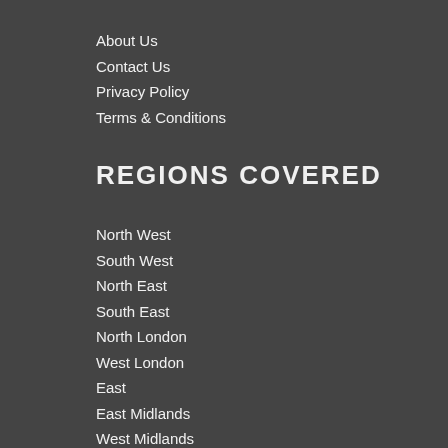About Us
Contact Us
Privacy Policy
Terms & Conditions
REGIONS COVERED
North West
South West
North East
South East
North London
West London
East
East Midlands
West Midlands
Yorkshire
Wales
Scotland